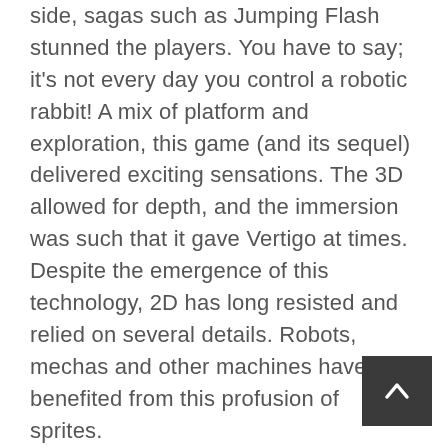side, sagas such as Jumping Flash stunned the players. You have to say; it's not every day you control a robotic rabbit! A mix of platform and exploration, this game (and its sequel) delivered exciting sensations. The 3D allowed for depth, and the immersion was such that it gave Vertigo at times. Despite the emergence of this technology, 2D has long resisted and relied on several details. Robots, mechas and other machines have benefited from this profusion of sprites.
In contrast to a series like Mega Man, which is quite clean, the arcade and Neo Geo players were able to hallucinate (that's the term) in front of the mechanical and robotic entities of the Slug Metal saga. With their incredible animations, these sprites have turned over more than one! From the 1980s to the present, the representation of